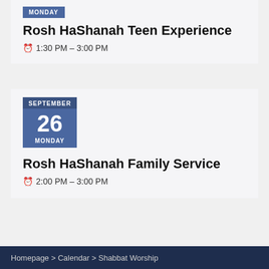MONDAY
Rosh HaShanah Teen Experience
1:30 PM – 3:00 PM
SEPTEMBER 26 MONDAY
Rosh HaShanah Family Service
2:00 PM – 3:00 PM
SEE ALL EVENTS
Homepage > Calendar > Shabbat Worship